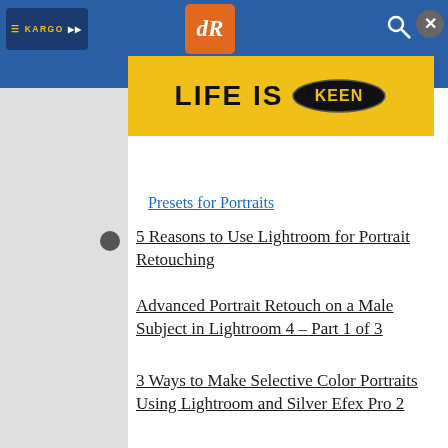[Figure (screenshot): Top navigation bar with Kargo logo on left, dR orange logo in center, blue background, search and close icons on right]
[Figure (illustration): LIFE IS KEEN advertisement banner in yellow with bold black text and Keen oval logo]
Presets for Portraits
5 Reasons to Use Lightroom for Portrait Retouching
Advanced Portrait Retouch on a Male Subject in Lightroom 4 – Part 1 of 3
3 Ways to Make Selective Color Portraits Using Lightroom and Silver Efex Pro 2
Correcting For Under Exposure and Boosting Dynamic Range with an Environmental Portrait in Lightroom 4
How to do Portrait Retouching With Luminar
Tips for Portrait Processing with ON1 Photo